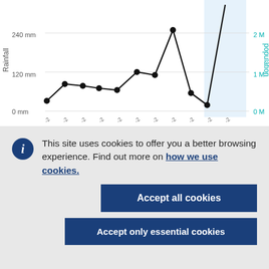[Figure (line-chart): Partial rainfall and population chart. Left y-axis: Rainfall (0 mm, 120 mm, 240 mm). Right y-axis: Population (0 M, 1 M, 2 M). Legend shows bubble sizes for Pop 100-250, Pop 250-500, Pop 500-750, Pop 750-1000, Pop >1000, and line marker for Rain. A black line chart is partially visible.]
This site uses cookies to offer you a better browsing experience. Find out more on how we use cookies.
Accept all cookies
Accept only essential cookies